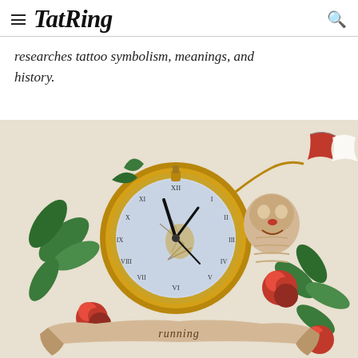TatRing
researches tattoo symbolism, meanings, and history.
[Figure (illustration): Colored tattoo design sketch featuring a large pocket watch with Roman numeral clock face, compass overlaid, roses, green leaves, a clown-like figure, a red and white flag/ribbon in upper right, and a decorative banner scroll at the bottom with cursive lettering. Traditional American tattoo style artwork in pencil/color.]